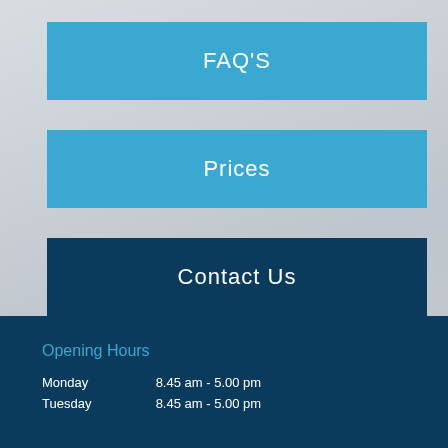FAQ'S
Prices
Contact Us
Opening Hours
Monday    8.45 am - 5.00 pm
Tuesday    8.45 am - 5.00 pm